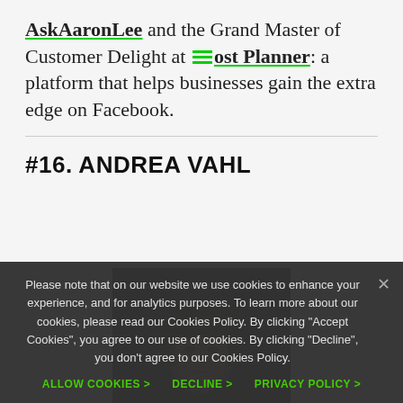AskAaronLee and the Grand Master of Customer Delight at Post Planner: a platform that helps businesses gain the extra edge on Facebook.
#16. ANDREA VAHL
[Figure (photo): Portrait photo of Andrea Vahl, a woman with dark hair, shown from the shoulders up against a dark brown/sepia background]
Please note that on our website we use cookies to enhance your experience, and for analytics purposes. To learn more about our cookies, please read our Cookies Policy. By clicking "Accept Cookies", you agree to our use of cookies. By clicking "Decline", you don't agree to our Cookies Policy.